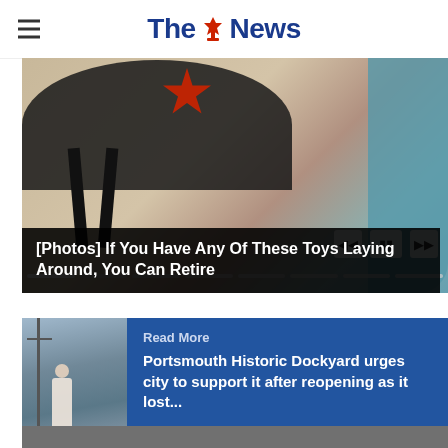The News
[Figure (photo): Slideshow image of vintage toys including a black hat with badge and straps, with a blue object on the right. Media player progress bar and controls visible.]
[Photos] If You Have Any Of These Toys Laying Around, You Can Retire
[Figure (photo): Thumbnail photo of Portsmouth Historic Dockyard with a tall ship mast and a person standing on the dock.]
Read More
Portsmouth Historic Dockyard urges city to support it after reopening as it lost...